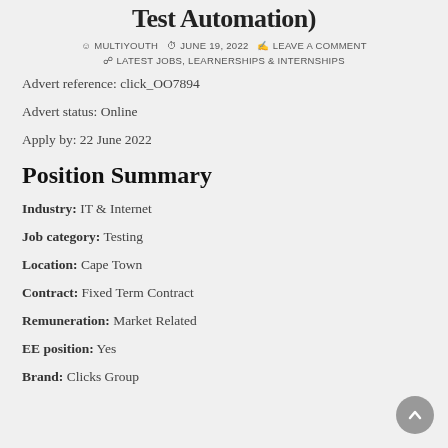Test Automation)
MULTIYOUTH   JUNE 19, 2022   LEAVE A COMMENT   LATEST JOBS, LEARNERSHIPS & INTERNSHIPS
Advert reference: click_OO7894
Advert status: Online
Apply by: 22 June 2022
Position Summary
Industry: IT & Internet
Job category: Testing
Location: Cape Town
Contract: Fixed Term Contract
Remuneration: Market Related
EE position: Yes
Brand: Clicks Group